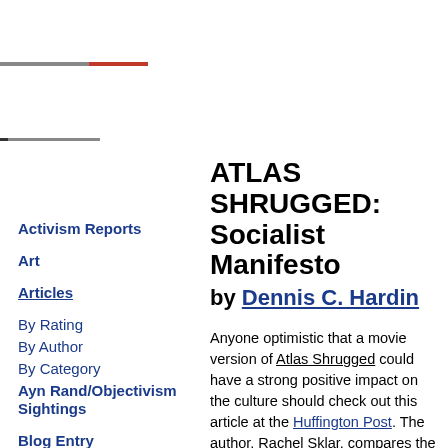Activism Reports
Art
Articles
By Rating
By Author
By Category
Ayn Rand/Objectivism Sightings
Blog Entry
Books
CDs
ATLAS SHRUGGED: Socialist Manifesto
by Dennis C. Hardin
Anyone optimistic that a movie version of Atlas Shrugged could have a strong positive impact on the culture should check out this article at the Huffington Post. The author, Rachel Sklar, compares the current Hollywood writers strike with Ayn Rand's fictionalized walkout by of the Men of the